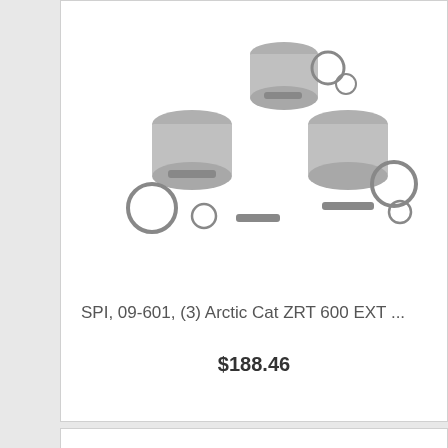[Figure (photo): Three pistons with rings and wrist pins shown as a product set for Arctic Cat ZRT 600 EXT engine]
SPI, 09-601, (3) Arctic Cat ZRT 600 EXT ...
$188.46
[Figure (photo): A throttle cable product shown partially, with cable and connector visible against white background]